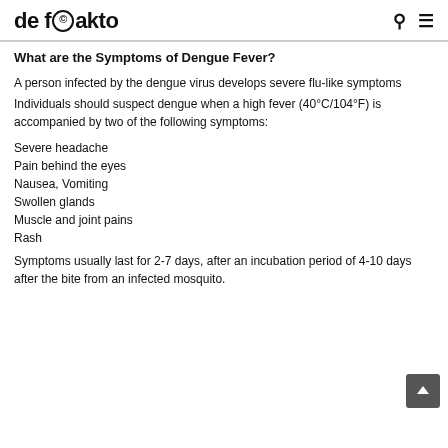de fakto
What are the Symptoms of Dengue Fever?
A person infected by the dengue virus develops severe flu-like symptoms
Individuals should suspect dengue when a high fever (40°C/104°F) is accompanied by two of the following symptoms:
Severe headache
Pain behind the eyes
Nausea, Vomiting
Swollen glands
Muscle and joint pains
Rash
Symptoms usually last for 2-7 days, after an incubation period of 4-10 days after the bite from an infected mosquito.